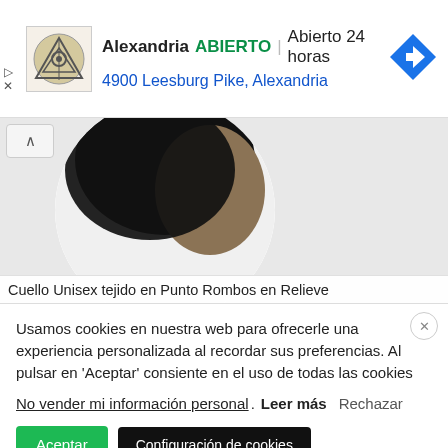[Figure (screenshot): Ad banner with business logo, name Alexandria, open status ABIERTO, hours Abierto 24 horas, address 4900 Leesburg Pike Alexandria, and navigation arrow icon]
[Figure (photo): Circular product photo showing a black and tan knitted collar/cowl with collapse button in top left corner]
Cuello Unisex tejido en Punto Rombos en Relieve
Usamos cookies en nuestra web para ofrecerle una experiencia personalizada al recordar sus preferencias. Al pulsar en 'Aceptar' consiente en el uso de todas las cookies
No vender mi información personal. Leer más Rechazar
Aceptar
Configuración de cookies